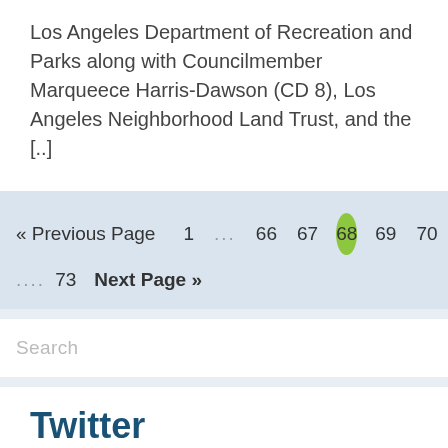Los Angeles Department of Recreation and Parks along with Councilmember Marqueece Harris-Dawson (CD 8), Los Angeles Neighborhood Land Trust, and the [..]
« Previous Page  1  ...  66  67  68  69  70  ...  73  Next Page »
Search
Twitter